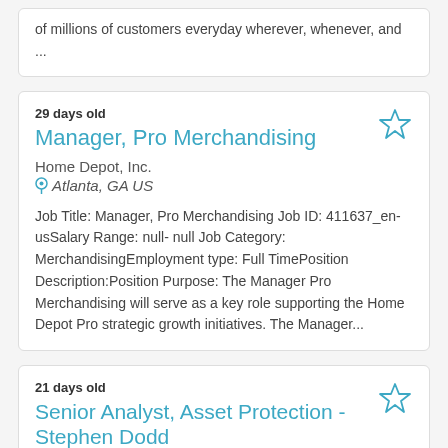of millions of customers everyday wherever, whenever, and ...
29 days old
Manager, Pro Merchandising
Home Depot, Inc.
Atlanta, GA US
Job Title: Manager, Pro Merchandising Job ID: 411637_en-usSalary Range: null- null Job Category: MerchandisingEmployment type: Full TimePosition Description:Position Purpose: The Manager Pro Merchandising will serve as a key role supporting the Home Depot Pro strategic growth initiatives. The Manager...
21 days old
Senior Analyst, Asset Protection - Stephen Dodd